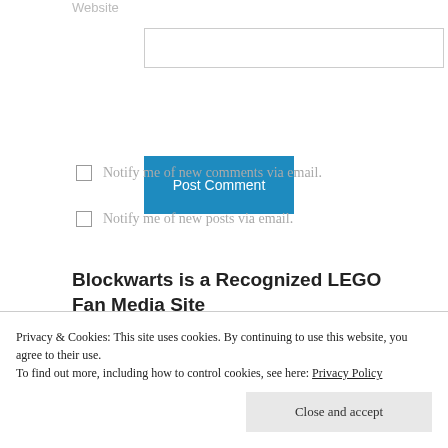Website
[input box]
Post Comment
Notify me of new comments via email.
Notify me of new posts via email.
Blockwarts is a Recognized LEGO Fan Media Site
Privacy & Cookies: This site uses cookies. By continuing to use this website, you agree to their use.
To find out more, including how to control cookies, see here: Privacy Policy
Close and accept